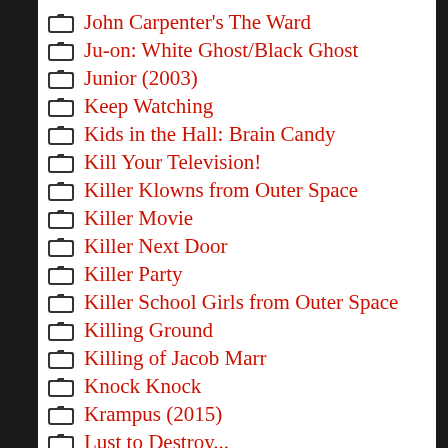John Carpenter's The Ward
Ju-on: White Ghost/Black Ghost
Junior (2003)
Keep Watching
Kids in the Hall: Brain Candy
Kill Your Television!
Killer Klowns from Outer Space
Killer Movie
Killer Next Door
Killer Party
Killer School Girls from Outer Space
Killing Ground
Killing of Jacob Marr
Knock Knock
Krampus (2015)
Lust to Destroy...